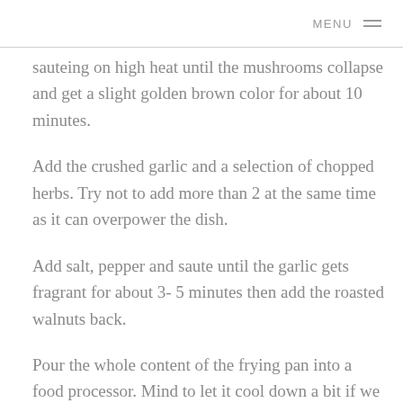MENU
sauteing on high heat until the mushrooms collapse and get a slight golden brown color for about 10 minutes.
Add the crushed garlic and a selection of chopped herbs. Try not to add more than 2 at the same time as it can overpower the dish.
Add salt, pepper and saute until the garlic gets fragrant for about 3- 5 minutes then add the roasted walnuts back.
Pour the whole content of the frying pan into a food processor. Mind to let it cool down a bit if we have a plastic container as the heat may damage it.